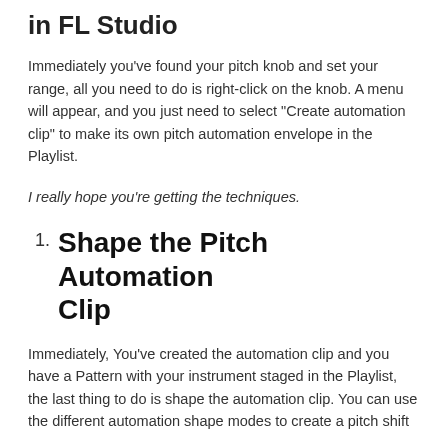in FL Studio
Immediately you've found your pitch knob and set your range, all you need to do is right-click on the knob. A menu will appear, and you just need to select “Create automation clip” to make its own pitch automation envelope in the Playlist.
I really hope you’re getting the techniques.
Shape the Pitch Automation Clip
Immediately, You’ve created the automation clip and you have a Pattern with your instrument staged in the Playlist, the last thing to do is shape the automation clip. You can use the different automation shape modes to create a pitch shift